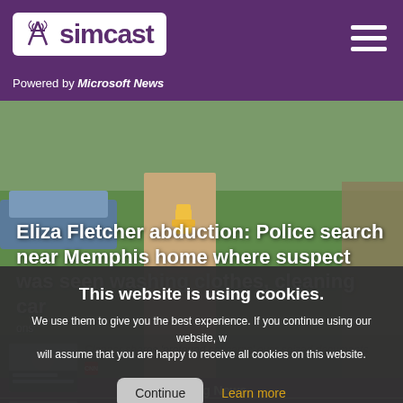simcast — Powered by Microsoft News
[Figure (photo): Outdoor scene showing a driveway/sidewalk with a fire hydrant, lawn, and vehicles in the background]
Eliza Fletcher abduction: Police search near Memphis home where suspect was seen washing clothes, cleaning car
Breaking News
This website is using cookies. We use them to give you the best experience. If you continue using our website, we will assume that you are happy to receive all cookies on this website.
Continue  Learn more
Clapper shares 'profound concerns' over seized documents
CNN
Newhall man arrested on suspicion of possessing large baton